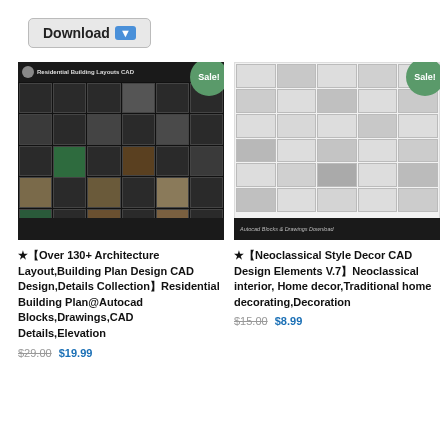Download ⬇
[Figure (screenshot): Residential Building Layouts CAD design collection thumbnail with dark background and grid of architectural drawings and interior photos. Sale! badge in green circle.]
★【Over 130+ Architecture Layout,Building Plan Design CAD Design,Details Collection】Residential Building Plan@Autocad Blocks,Drawings,CAD Details,Elevation
$29.00 $19.99
[Figure (screenshot): Neoclassical Style Decor CAD Design Elements V.7 thumbnail showing architectural hardware/decorative elements on white background with classical sculpture. Sale! badge in green circle.]
★【Neoclassical Style Decor CAD Design Elements V.7】Neoclassical interior, Home decor,Traditional home decorating,Decoration
$15.00 $8.99